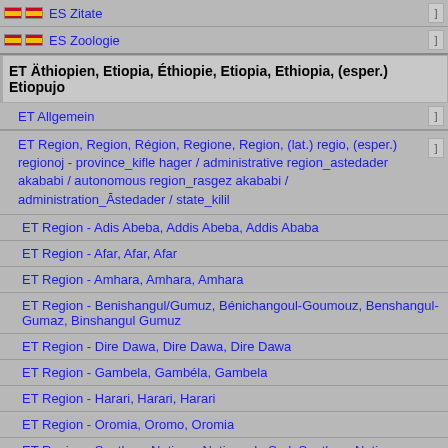ES Zitate
ES Zoologie
ET Äthiopien, Etiopia, Éthiopie, Etiopia, Ethiopia, (esper.) Etiopujo
ET Allgemein
ET Region, Region, Région, Regione, Region, (lat.) regio, (esper.) regionoj - province_kifle hager / administrative region_astedader akababi / autonomous region_rasgez akababi / administration_Āstedader / state_kilil
ET Region - Adis Abeba, Addis Abeba, Addis Ababa
ET Region - Afar, Afar, Afar
ET Region - Amhara, Amhara, Amhara
ET Region - Benishangul/Gumuz, Bénichangoul-Goumouz, Benshangul-Gumaz, Binshangul Gumuz
ET Region - Dire Dawa, Dire Dawa, Dire Dawa
ET Region - Gambela, Gambéla, Gambela
ET Region - Harari, Harari, Harari
ET Region - Oromia, Oromo, Oromia
ET Region - Southern Nations, Nations du Sud, Southern Nations
ET Region - Somali, Somali, Somali
ET Region - Tigrai, Tigré, Tigray (Makale, Makalé, Makale)
ET Stadt